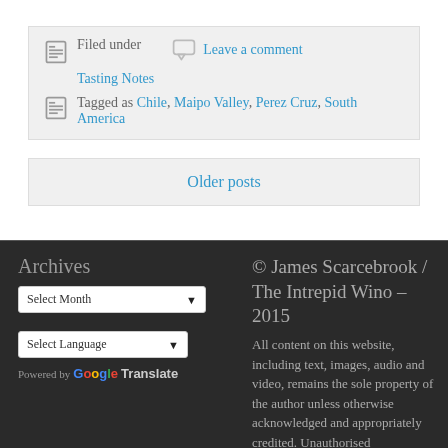Filed under   Leave a comment   Tasting Notes
Tagged as Chile, Maipo Valley, Perez Cruz, South America
Older posts
Archives
Select Month
Select Language
Powered by Google Translate
© James Scarcebrook / The Intrepid Wino – 2015
All content on this website, including text, images, audio and video, remains the sole property of the author unless otherwise acknowledged and appropriately credited. Unauthorised